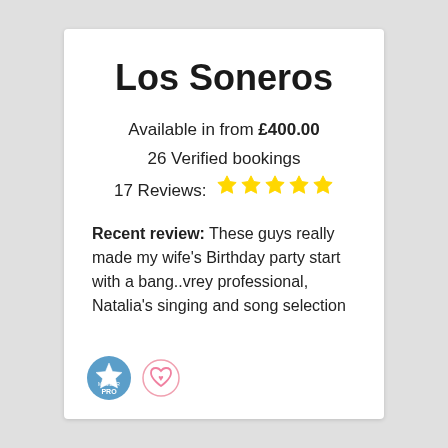Los Soneros
Available in from £400.00
26 Verified bookings
17 Reviews: ★★★★★
Recent review: These guys really made my wife's Birthday party start with a bang..vrey professional, Natalia's singing and song selection
[Figure (logo): PRO member badge (blue circle with star and PRO text) and a pink heart/favourite icon]